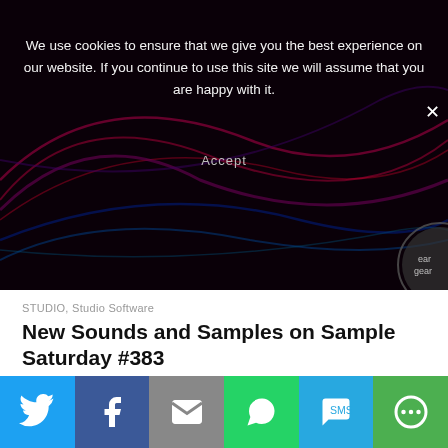[Figure (screenshot): Dark abstract background with colorful light streaks (red, purple, blue). Contains a cookie consent banner overlay with white text and an Accept button. Also shows a partial circular logo/watermark in the bottom right.]
We use cookies to ensure that we give you the best experience on our website. If you continue to use this site we will assume that you are happy with it.
STUDIO, Studio Software
New Sounds and Samples on Sample Saturday #383
February 24, 2018 · 0 comments
Below are some of the new releases we have encountered this week on the Loops and Samples front. Just like
[Figure (photo): Dark image with orange/golden light streaks on a black background.]
[Figure (infographic): Social media share bar with Twitter, Facebook, Email, WhatsApp, SMS, and More buttons.]